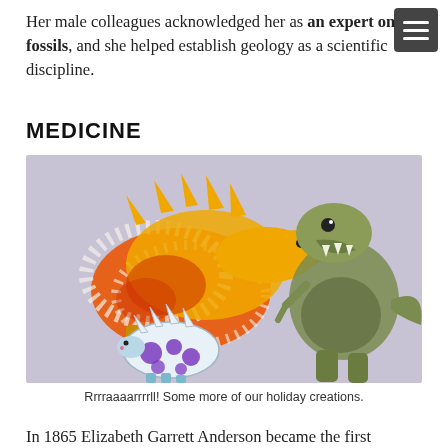Her male colleagues acknowledged her as an expert on fossils, and she helped establish geology as a scientific discipline.
MEDICINE
[Figure (photo): Children's craft dinosaur figures on a light purple/grey background. Left figure is a stegosaurus-like dinosaur painted orange and yellow with white cotton texture. Centre bottom is a small blue and white dinosaur with purple polka dots. Right is a green T-rex like dinosaur figure.]
Rrrraaaarrrrll! Some more of our holiday creations.
In 1865 Elizabeth Garrett Anderson became the first